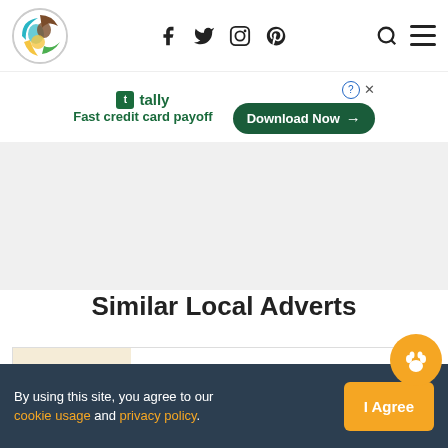Pet website header with logo, social icons (Facebook, Twitter, Instagram, Pinterest), search, and menu
[Figure (infographic): Tally app advertisement banner: 'Fast credit card payoff' with Download Now button]
[Figure (other): Gray advertisement placeholder area]
Similar Local Adverts
[Figure (photo): Cocker spaniel puppy photo in advert card]
Looking for a female working cocker puppy
By using this site, you agree to our cookie usage and privacy policy.